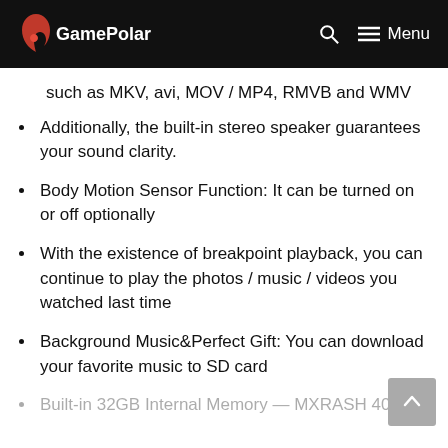GamePolar — Menu
such as MKV, avi, MOV / MP4, RMVB and WMV
Additionally, the built-in stereo speaker guarantees your sound clarity.
Body Motion Sensor Function: It can be turned on or off optionally
With the existence of breakpoint playback, you can continue to play the photos / music / videos you watched last time
Background Music&Perfect Gift: You can download your favorite music to SD card
Built-in 32GB Internal Memory — MXRASH 40